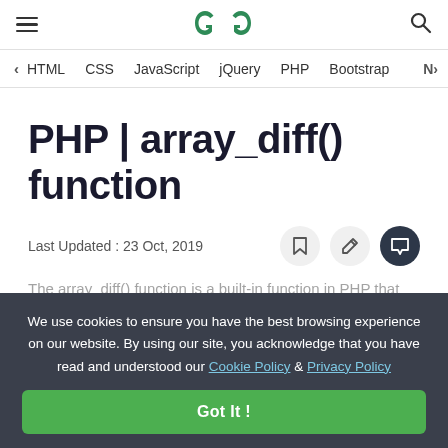GeeksforGeeks — hamburger menu, GFG logo, search icon
HTML  CSS  JavaScript  jQuery  PHP  Bootstrap  N>
PHP | array_diff() function
Last Updated : 23 Oct, 2019
We use cookies to ensure you have the best browsing experience on our website. By using our site, you acknowledge that you have read and understood our Cookie Policy & Privacy Policy
Got It !